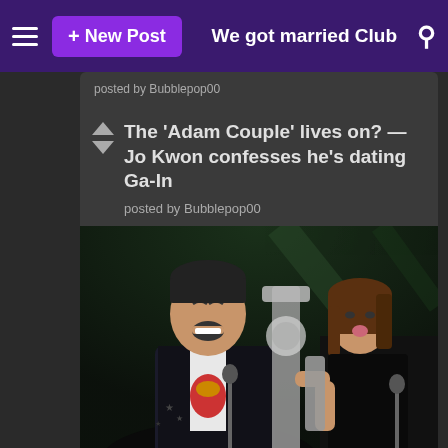+ New Post   We got married Club
posted by Bubblepop00
The 'Adam Couple' lives on? — Jo Kwon confesses he's dating Ga-In
posted by Bubblepop00
[Figure (photo): A young man in a black jacket and graphic white shirt laughing, while a young woman in a black dress kisses a cutout/award prop. Stage setting with microphones visible in the background.]
As soon as it was announced that the ever so famous 'Adam Couple' from MBC's "We Got Married" would and their run on the show, comin at, comin at were left